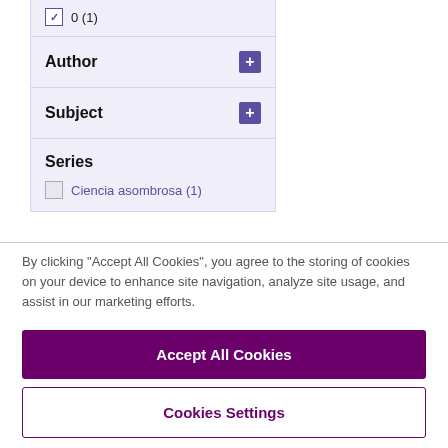✓ 0 (1)
Author +
Subject +
Series
Ciencia asombrosa (1)
By clicking "Accept All Cookies", you agree to the storing of cookies on your device to enhance site navigation, analyze site usage, and assist in our marketing efforts.
Accept All Cookies
Cookies Settings